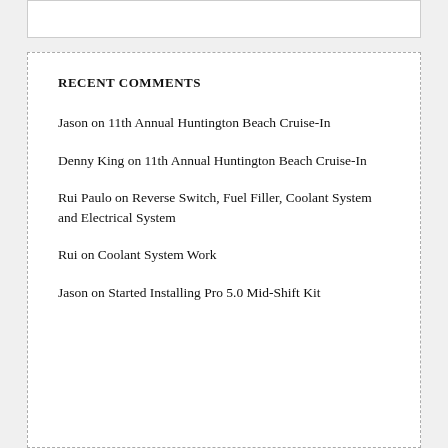RECENT COMMENTS
Jason on 11th Annual Huntington Beach Cruise-In
Denny King on 11th Annual Huntington Beach Cruise-In
Rui Paulo on Reverse Switch, Fuel Filler, Coolant System and Electrical System
Rui on Coolant System Work
Jason on Started Installing Pro 5.0 Mid-Shift Kit